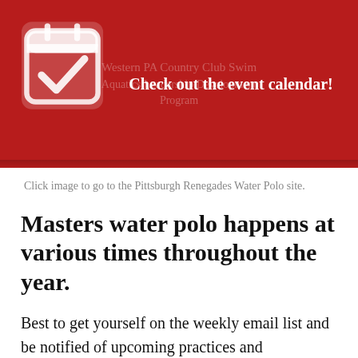[Figure (infographic): Red banner with calendar/checkmark icon on the left. Background text reads 'Western PA Country Club Swim Aquatics Leadership Development Program'. Overlay text reads 'Check out the event calendar!']
Click image to go to the Pittsburgh Renegades Water Polo site.
Masters water polo happens at various times throughout the year.
Best to get yourself on the weekly email list and be notified of upcoming practices and competition opportunities.